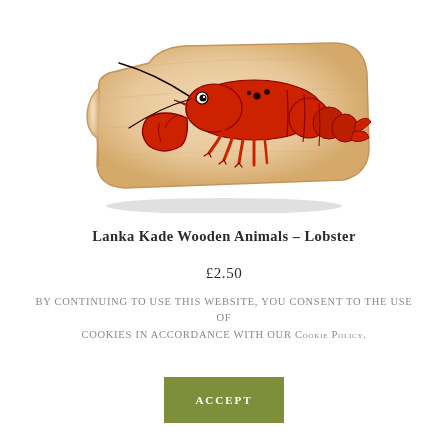[Figure (photo): A wooden Lanka Kade lobster toy — a rounded wooden block with a red painted lobster illustration on it, showing claws, legs, antennae, and body segments.]
Lanka Kade Wooden Animals – Lobster
£2.50
By continuing to use this website, you consent to the use of cookies in accordance with our Cookie Policy.
Accept